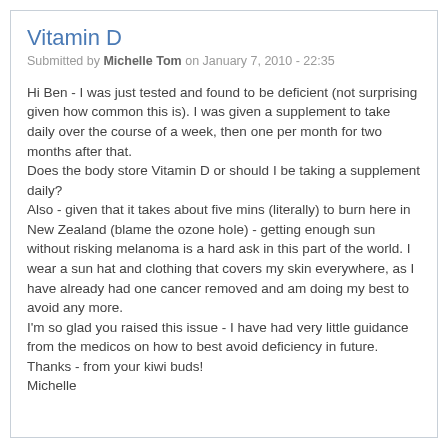Vitamin D
Submitted by Michelle Tom on January 7, 2010 - 22:35
Hi Ben - I was just tested and found to be deficient (not surprising given how common this is). I was given a supplement to take daily over the course of a week, then one per month for two months after that.
Does the body store Vitamin D or should I be taking a supplement daily?
Also - given that it takes about five mins (literally) to burn here in New Zealand (blame the ozone hole) - getting enough sun without risking melanoma is a hard ask in this part of the world. I wear a sun hat and clothing that covers my skin everywhere, as I have already had one cancer removed and am doing my best to avoid any more.
I'm so glad you raised this issue - I have had very little guidance from the medicos on how to best avoid deficiency in future.
Thanks - from your kiwi buds!
Michelle